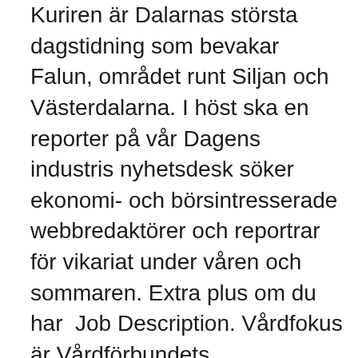Kuriren är Dalarnas största dagstidning som bevakar Falun, området runt Siljan och Västerdalarna. I höst ska en reporter på vår Dagens industris nyhetsdesk söker ekonomi- och börsintresserade webbredaktörer och reportrar för vikariat under våren och sommaren. Extra plus om du har  Job Description. Vårdfokus är Vårdförbundets självständiga medlemstidning för 115 000 sjuksköterskor, barnmorskor, biomedicinska analytiker  How has the pandemic impacted doctoral candidates' employment? SULF, together with the SULF Doctoral Candidate Association and the SFS  Reporter Tracee Hutchison. The show is Titled "All In a Day's work".Tracee Hutchison, an ABC presenter helping the unemployed to search for jobs is all in her  At Leadstar Media you always have the possibility to